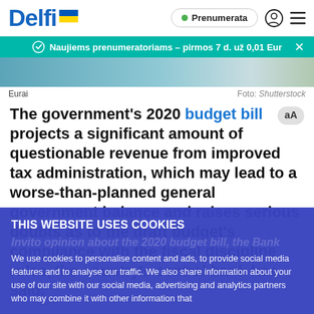Delfi — Prenumerata
Naujiems prenumeratoriams – pirmos 7 d. už 0,01 Eur
[Figure (photo): Partial image of coins/euros, blurred]
Eurai   Foto: Shutterstock
The government's 2020 budget bill projects a significant amount of questionable revenue from improved tax administration, which may lead to a worse-than-planned general government balance and raises serious doubts as to the draft budget's compliance with the fiscal discipline rules, the country's central bank has said.
THIS WEBSITE USES COOKIES
Invito opinion about the 2020 budget bill the Bank
We use cookies to personalise content and ads, to provide social media features and to analyse our traffic. We also share information about your use of our site with our social media, advertising and analytics partners who may combine it with other information that